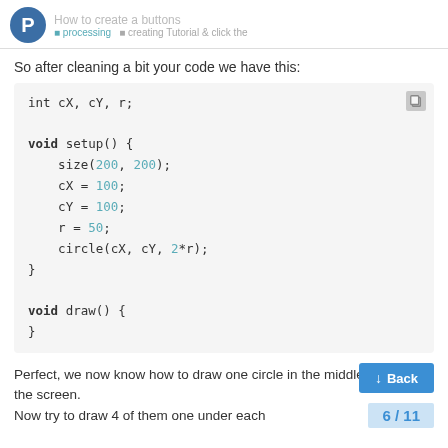How to create a buttons
So after cleaning a bit your code we have this:
[Figure (screenshot): Code block showing Processing/Java code with int cX, cY, r; void setup() { size(200, 200); cX = 100; cY = 100; r = 50; circle(cX, cY, 2*r); } void draw() { }]
Perfect, we now know how to draw one circle in the middle of the screen.
Now try to draw 4 of them one under each